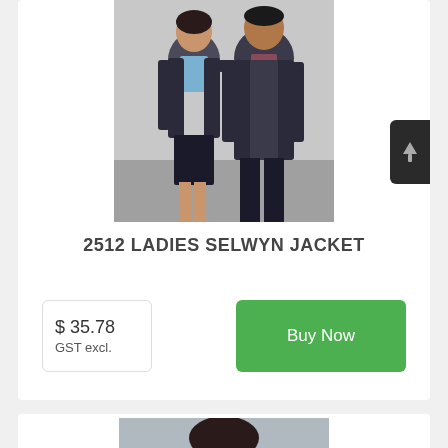[Figure (photo): Two models wearing dark jackets — a woman in a blue shirt under a black jacket with a skirt, and a man in a checkered shirt under a dark jacket, standing on a street.]
2512 LADIES SELWYN JACKET
$ 35.78
GST excl.
Buy Now
[Figure (photo): Partial view of a second product photo showing a model, cropped at the bottom of the page.]